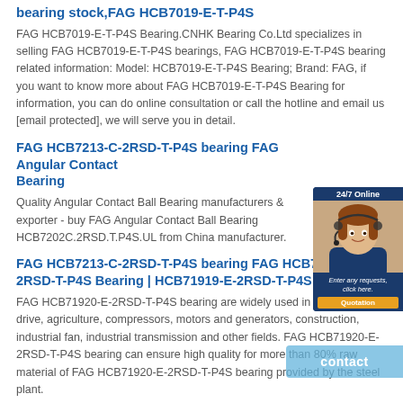bearing stock,FAG HCB7019-E-T-P4S
FAG HCB7019-E-T-P4S Bearing.CNHK Bearing Co.Ltd specializes in selling FAG HCB7019-E-T-P4S bearings, FAG HCB7019-E-T-P4S bearing related information: Model: HCB7019-E-T-P4S Bearing; Brand: FAG, if you want to know more about FAG HCB7019-E-T-P4S Bearing for information, you can do online consultation or call the hotline and email us [email protected], we will serve you in detail.
FAG HCB7213-C-2RSD-T-P4S bearing FAG Angular Contact Ball Bearing
Quality Angular Contact Ball Bearing manufacturers & exporter - buy FAG Angular Contact Ball Bearing HCB7202C.2RSD.T.P4S.UL from China manufacturer.
[Figure (photo): Customer service representative chat widget with 24/7 Online label and Quotation button]
FAG HCB7213-C-2RSD-T-P4S bearing FAG HCB71920-E-2RSD-T-P4S Bearing | HCB71919-E-2RSD-T-P4S
FAG HCB71920-E-2RSD-T-P4S bearing are widely used in industrial drive, agriculture, compressors, motors and generators, construction, industrial fan, industrial transmission and other fields. FAG HCB71920-E-2RSD-T-P4S bearing can ensure high quality for more than 80% raw material of FAG HCB71920-E-2RSD-T-P4S bearing provided by the steel plant.
FAG HCB7213-C-2RSD-T-P4S bearing 21313CCKH313 SKF Spherical Roller…